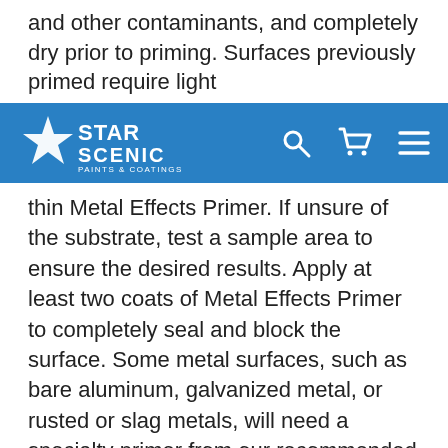and other contaminants, and completely dry prior to priming. Surfaces previously primed require light
[Figure (screenshot): Star Scenic Paints & Coatings navigation bar with logo, search icon, cart icon, and menu icon on blue background]
thin Metal Effects Primer. If unsure of the substrate, test a sample area to ensure the desired results. Apply at least two coats of Metal Effects Primer to completely seal and block the surface. Some metal surfaces, such as bare aluminum, galvanized metal, or rusted or slag metals, will need a specialty primer from our recommended primer list, applied prior to the application of Metal Effects Primer. If this is the case, read the specific information for the recommended primer prior to beginning your project. Properly prime the clean, dry surface with the recommended primer and allow the surface to dry completely—preferably overnight. Then follow the directions for applying Metal Effects Primer. Note: